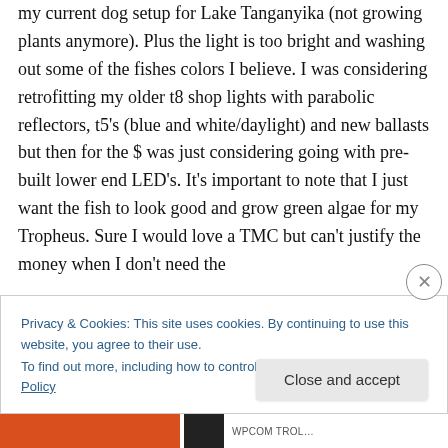my current dog setup for Lake Tanganyika (not growing plants anymore). Plus the light is too bright and washing out some of the fishes colors I believe. I was considering retrofitting my older t8 shop lights with parabolic reflectors, t5's (blue and white/daylight) and new ballasts but then for the $ was just considering going with pre-built lower end LED's. It's important to note that I just want the fish to look good and grow green algae for my Tropheus. Sure I would love a TMC but can't justify the money when I don't need the
Privacy & Cookies: This site uses cookies. By continuing to use this website, you agree to their use.
To find out more, including how to control cookies, see here: Cookie Policy